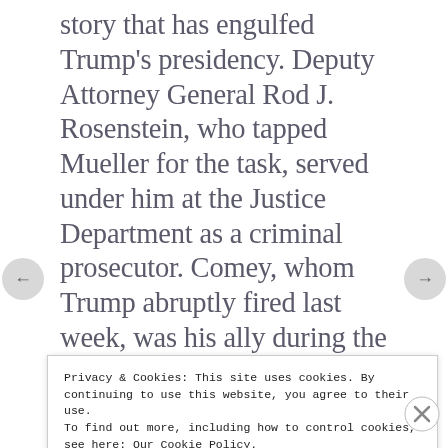story that has engulfed Trump's presidency. Deputy Attorney General Rod J. Rosenstein, who tapped Mueller for the task, served under him at the Justice Department as a criminal prosecutor. Comey, whom Trump abruptly fired last week, was his ally during the Bush era and then succeeded him as FBI director.
Until his surprise appointment
Privacy & Cookies: This site uses cookies. By continuing to use this website, you agree to their use.
To find out more, including how to control cookies, see here: Our Cookie Policy.
Close and accept